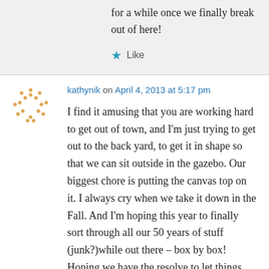for a while once we finally break out of here!
★ Like
kathynik on April 4, 2013 at 5:17 pm
I find it amusing that you are working hard to get out of town, and I'm just trying to get out to the back yard, to get it in shape so that we can sit outside in the gazebo. Our biggest chore is putting the canvas top on it. I always cry when we take it down in the Fall. And I'm hoping this year to finally sort through all our 50 years of stuff (junk?)while out there – box by box! Hoping we have the resolve to let things go! But it's so much more pleasant to do that outdoors! My